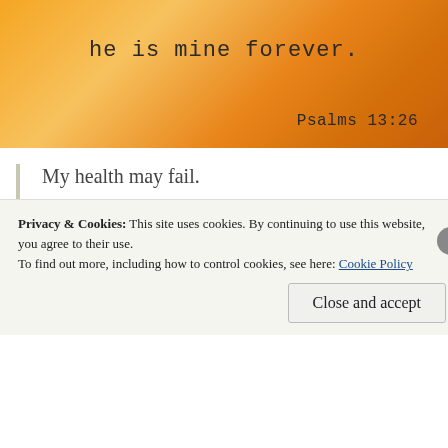[Figure (illustration): Orange floral/leaf background image with handwritten-style text 'he is mine forever.' and reference 'Psalms 13:26' in bottom right]
My health may fail.
I would say that most people worry about their health. How can we not? To lose one's health is an inevitable and painful truth of life. We fear it; and many of us struggle with the realities of it every day.
Psalms is a very poetic book, but that doesn't mean it
Privacy & Cookies: This site uses cookies. By continuing to use this website, you agree to their use.
To find out more, including how to control cookies, see here: Cookie Policy